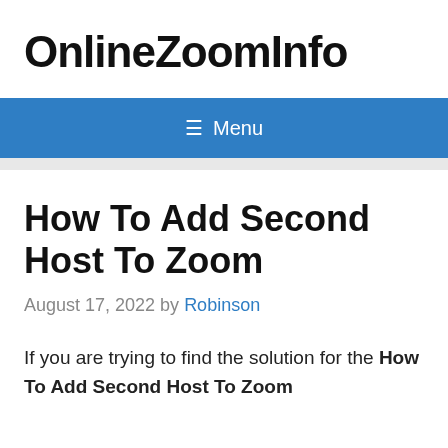OnlineZoomInfo
☰ Menu
How To Add Second Host To Zoom
August 17, 2022 by Robinson
If you are trying to find the solution for the How To Add Second Host To Zoom